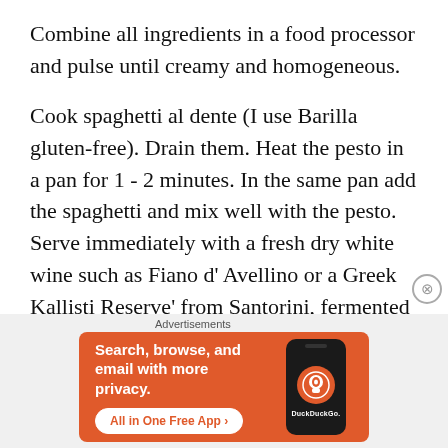Combine all ingredients in a food processor and pulse until creamy and homogeneous.
Cook spaghetti al dente (I use Barilla gluten-free). Drain them. Heat the pesto in a pan for 1 - 2 minutes. In the same pan add the spaghetti and mix well with the pesto. Serve immediately with a fresh dry white wine such as Fiano d' Avellino or a Greek Kallisti Reserve' from Santorini, fermented in an oak barrel.
Advertisements
[Figure (screenshot): DuckDuckGo advertisement banner on orange background with text 'Search, browse, and email with more privacy.' and button 'All in One Free App', with a phone mockup showing the DuckDuckGo logo]